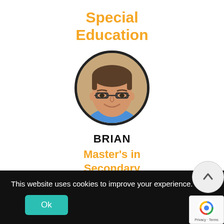Special Education
[Figure (photo): Circular headshot photo of a smiling man named Brian wearing glasses]
BRIAN
Master's in Secondary Mathematics Education
This website uses cookies to improve your experience.
Ok
[Figure (logo): reCAPTCHA badge with logo and 'Privacy - Terms' text]